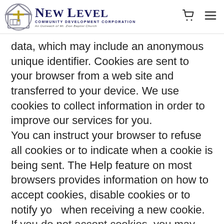New Level Community Development Corporation — An Outreach of Mt. Zion Baptist Church
data, which may include an anonymous unique identifier. Cookies are sent to your browser from a web site and transferred to your device. We use cookies to collect information in order to improve our services for you. You can instruct your browser to refuse all cookies or to indicate when a cookie is being sent. The Help feature on most browsers provides information on how to accept cookies, disable cookies or to notify you when receiving a new cookie. If you do not accept cookies, you may not be
[Figure (illustration): Purple circular chat/support button with white speech bubble icon, positioned at bottom right of page]